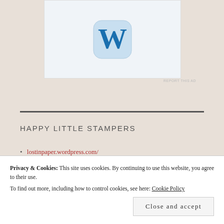[Figure (logo): WordPress logo icon — blue 'W' on light blue rounded rectangle background, inside a white/light grey ad box]
REPORT THIS AD
HAPPY LITTLE STAMPERS
lostinpaper.wordpress.com/
My Papercraft World
Privacy & Cookies: This site uses cookies. By continuing to use this website, you agree to their use.
To find out more, including how to control cookies, see here: Cookie Policy
Close and accept